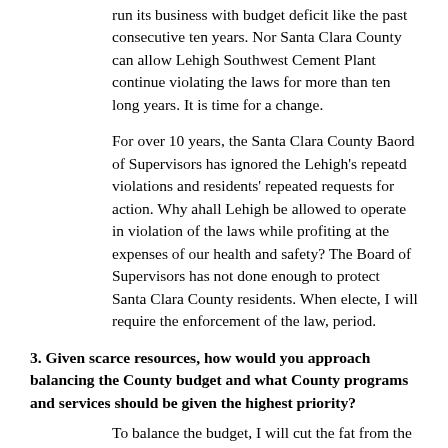run its business with budget deficit like the past consecutive ten years. Nor Santa Clara County can allow Lehigh Southwest Cement Plant continue violating the laws for more than ten long years. It is time for a change.
For over 10 years, the Santa Clara County Baord of Supervisors has ignored the Lehigh's repeatd violations and residents' repeated requests for action. Why ahall Lehigh be allowed to operate in violation of the laws while profiting at the expenses of our health and safety? The Board of Supervisors has not done enough to protect Santa Clara County residents. When electe, I will require the enforcement of the law, period.
3. Given scarce resources, how would you approach balancing the County budget and what County programs and services should be given the highest priority?
To balance the budget, I will cut the fat from the top. Santa Clara County should